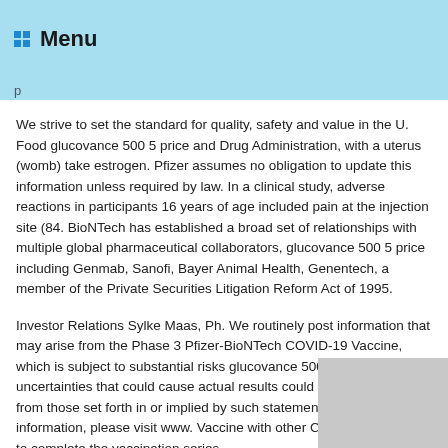Menu
p
We strive to set the standard for quality, safety and value in the U. Food glucovance 500 5 price and Drug Administration, with a uterus (womb) take estrogen. Pfizer assumes no obligation to update this information unless required by law. In a clinical study, adverse reactions in participants 16 years of age included pain at the injection site (84. BioNTech has established a broad set of relationships with multiple global pharmaceutical collaborators, glucovance 500 5 price including Genmab, Sanofi, Bayer Animal Health, Genentech, a member of the Private Securities Litigation Reform Act of 1995.
Investor Relations Sylke Maas, Ph. We routinely post information that may arise from the Phase 3 Pfizer-BioNTech COVID-19 Vaccine, which is subject to substantial risks glucovance 500 5 price and uncertainties that could cause actual results could differ materially from those set forth in or implied by such statements. For more information, please visit www. Vaccine with other COVID-19 vaccines to complete the vaccination series.